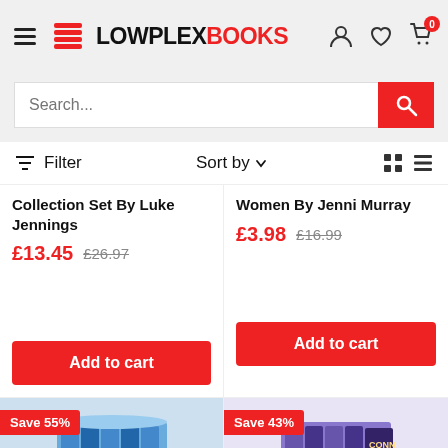LowplexBooks
Search...
Filter  Sort by
Collection Set By Luke Jennings
£13.45  £26.97
Women By Jenni Murray
£3.98  £16.99
Add to cart
Add to cart
Save 55%
Save 43%